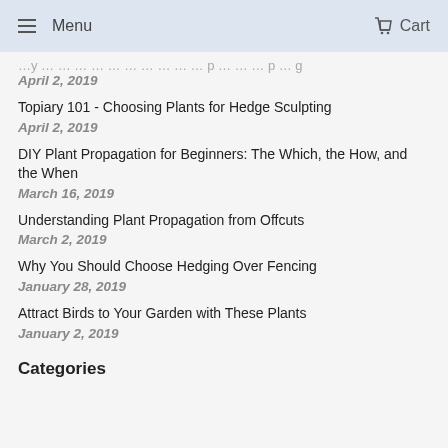Menu  Cart
April 2, 2019
Topiary 101 - Choosing Plants for Hedge Sculpting
April 2, 2019
DIY Plant Propagation for Beginners: The Which, the How, and the When
March 16, 2019
Understanding Plant Propagation from Offcuts
March 2, 2019
Why You Should Choose Hedging Over Fencing
January 28, 2019
Attract Birds to Your Garden with These Plants
January 2, 2019
Categories